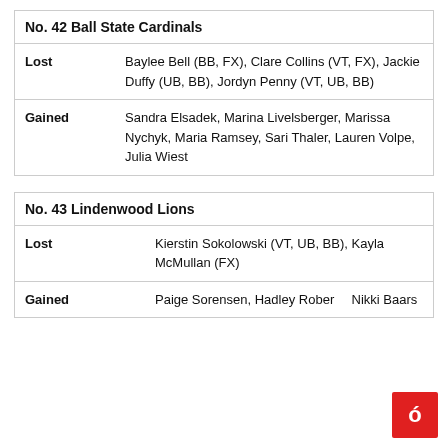| No. 42 Ball State Cardinals |  |
| --- | --- |
| Lost | Baylee Bell (BB, FX), Clare Collins (VT, FX), Jackie Duffy (UB, BB), Jordyn Penny (VT, UB, BB) |
| Gained | Sandra Elsadek, Marina Livelsberger, Marissa Nychyk, Maria Ramsey, Sari Thaler, Lauren Volpe, Julia Wiest |
| No. 43 Lindenwood Lions |  |
| --- | --- |
| Lost | Kierstin Sokolowski (VT, UB, BB), Kayla McMullan (FX) |
| Gained | Paige Sorensen, Hadley Roberts, Nikki Baars |